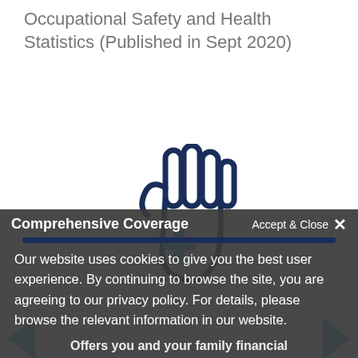Occupational Safety and Health Statistics (Published in Sept 2020)
[Figure (illustration): Icon of a hand with a medical plus/cross symbol on the palm, outlined in dark navy blue with a cyan/light blue cross, representing occupational health and safety.]
Comprehensive Coverage
Accept & Close ×
Our website uses cookies to give you the best user experience. By continuing to browse the site, you are agreeing to our privacy policy. For details, please browse the relevant information in our website.
Offers you and your family financial